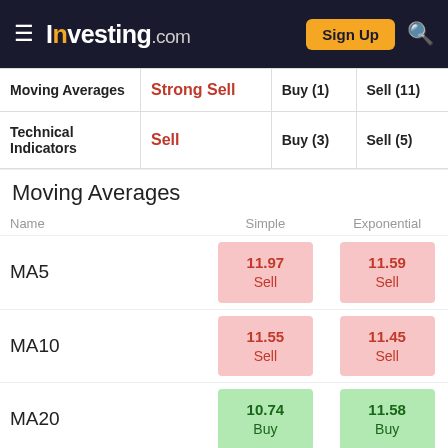Investing.com — Sign Up
|  |  | Buy | Sell |
| --- | --- | --- | --- |
| Moving Averages | Strong Sell | Buy (1) | Sell (11) |
| Technical Indicators | Sell | Buy (3) | Sell (5) |
Moving Averages
| Name |  | Simple | Exponential |
| --- | --- | --- | --- |
| MA5 |  | 11.97 Sell | 11.59 Sell |
| MA10 |  | 11.55 Sell | 11.45 Sell |
| MA20 |  | 10.74 Buy | 11.58 Buy |